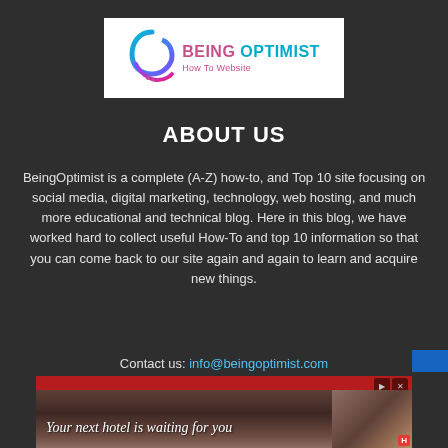[Figure (logo): Being Optimist - How To Website logo with circular gradient swoosh in blue and purple, white background]
ABOUT US
BeingOptimist is a complete (A-Z) how-to, and Top 10 site focusing on social media, digital marketing, technology, web hosting, and much more educational and technical blog. Here in this blog, we have worked hard to collect useful How-To and top 10 information so that you can come back to our site again and again to learn and acquire new things.
Contact us: info@beingoptimist.com
[Figure (screenshot): Advertisement banner: Your next hotel is waiting for you - hotel image with red background]